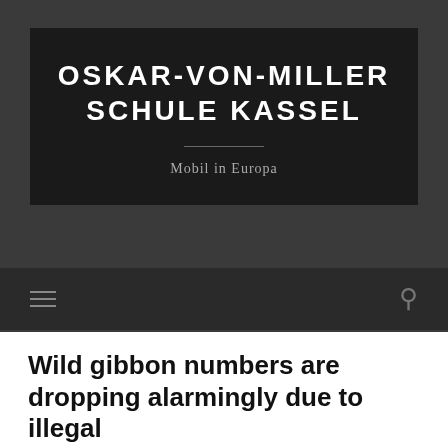OSKAR-VON-MILLER SCHULE KASSEL
Mobil in Europa
Wild gibbon numbers are dropping alarmingly due to illegal
JUNE 29, 2014 / 0 COMMENTS